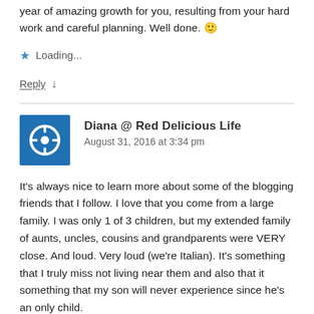year of amazing growth for you, resulting from your hard work and careful planning. Well done. 🙂
⭐ Loading...
Reply ↓
Diana @ Red Delicious Life
August 31, 2016 at 3:34 pm
It's always nice to learn more about some of the blogging friends that I follow. I love that you come from a large family. I was only 1 of 3 children, but my extended family of aunts, uncles, cousins and grandparents were VERY close. And loud. Very loud (we're Italian). It's something that I truly miss not living near them and also that it something that my son will never experience since he's an only child.